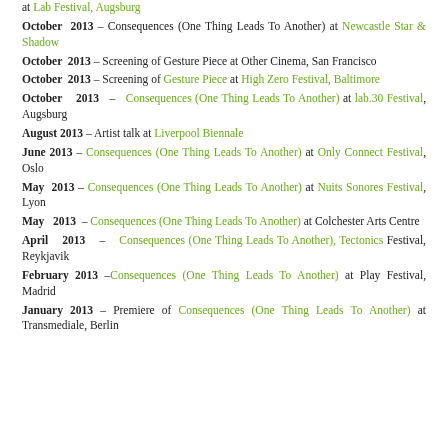October 2013 – Consequences (One Thing Leads To Another) at Lab Festival, Augsburg
October 2013 – Consequences (One Thing Leads To Another) at Newcastle Star & Shadow
October 2013 – Screening of Gesture Piece at Other Cinema, San Francisco
October 2013 – Screening of Gesture Piece at High Zero Festival, Baltimore
October 2013 – Consequences (One Thing Leads To Another) at lab.30 Festival, Augsburg
August 2013 – Artist talk at Liverpool Biennale
June 2013 – Consequences (One Thing Leads To Another) at Only Connect Festival, Oslo
May 2013 – Consequences (One Thing Leads To Another) at Nuits Sonores Festival, Lyon
May 2013 – Consequences (One Thing Leads To Another) at Colchester Arts Centre
April 2013 – Consequences (One Thing Leads To Another), Tectonics Festival, Reykjavik
February 2013 – Consequences (One Thing Leads To Another) at Play Festival, Madrid
January 2013 – Premiere of Consequences (One Thing Leads To Another) at Transmediale, Berlin